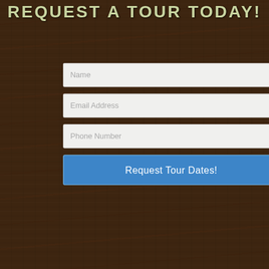REQUEST A TOUR TODAY!
Name
Email Address
Phone Number
Request Tour Dates!